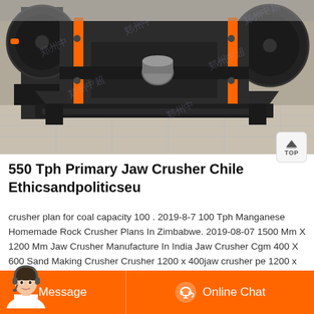[Figure (photo): Industrial jaw crusher machine photographed close-up, showing heavy steel frame with orange and black components, watermarked with Chinese text]
550 Tph Primary Jaw Crusher Chile Ethicsandpoliticseu
crusher plan for coal capacity 100 . 2019-8-7 100 Tph Manganese Homemade Rock Crusher Plans In Zimbabwe. 2019-08-07 1500 Mm X 1200 Mm Jaw Crusher Manufacture In India Jaw Crusher Cgm 400 X 600 Sand Making Crusher Crusher 1200 x 400jaw crusher pe 1200 x 1500 coal jaw crusher 600 tph pe1200 1500 jaw crusher maximum feed
[Figure (photo): Customer service avatar - woman wearing headset]
Message
Online Chat